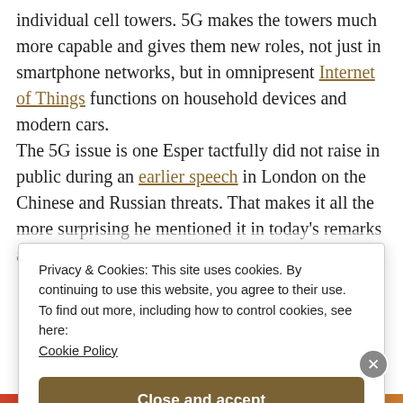individual cell towers. 5G makes the towers much more capable and gives them new roles, not just in smartphone networks, but in omnipresent Internet of Things functions on household devices and modern cars.
The 5G issue is one Esper tactfully did not raise in public during an earlier speech in London on the Chinese and Russian threats. That makes it all the more surprising he mentioned it in today's remarks at a
Privacy & Cookies: This site uses cookies. By continuing to use this website, you agree to their use.
To find out more, including how to control cookies, see here: Cookie Policy
Close and accept